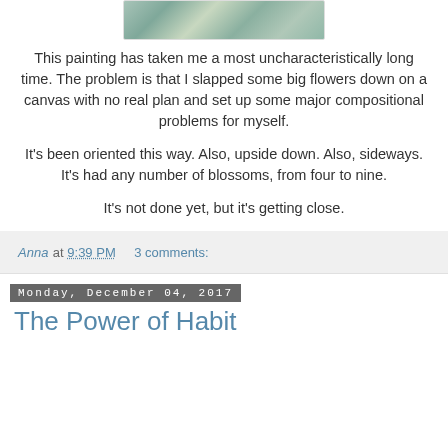[Figure (photo): Partial view of a painting with flowers/blossoms in green and teal tones]
This painting has taken me a most uncharacteristically long time. The problem is that I slapped some big flowers down on a canvas with no real plan and set up some major compositional problems for myself.
It's been oriented this way. Also, upside down. Also, sideways. It's had any number of blossoms, from four to nine.
It's not done yet, but it's getting close.
Anna at 9:39 PM    3 comments:
Monday, December 04, 2017
The Power of Habit